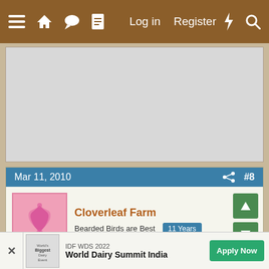Navigation bar with menu, home, chat, document icons, Log in, Register, lightning, search
[Figure (screenshot): Gray advertisement placeholder box]
Mar 11, 2010  #8
Cloverleaf Farm
Bearded Birds are Best  11 Years
Quote:
I would, but I don't have room - lord, I bet they'd be CUTE
though
[Figure (infographic): Bottom ad banner: IDF WDS 2022 World Dairy Summit India - Apply Now]